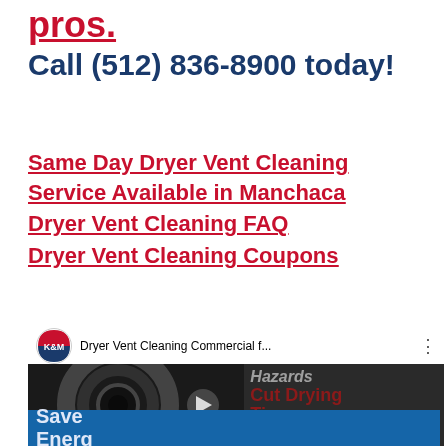pros.
Call (512) 836-8900 today!
Same Day Dryer Vent Cleaning Service Available in Manchaca
Dryer Vent Cleaning FAQ
Dryer Vent Cleaning Coupons
[Figure (screenshot): YouTube video thumbnail for 'Dryer Vent Cleaning Commercial f...' by K&M, showing a dryer vent hose on left and text overlays 'Hazards', 'Cut Drying Times', 'Save Energy' on right panel]